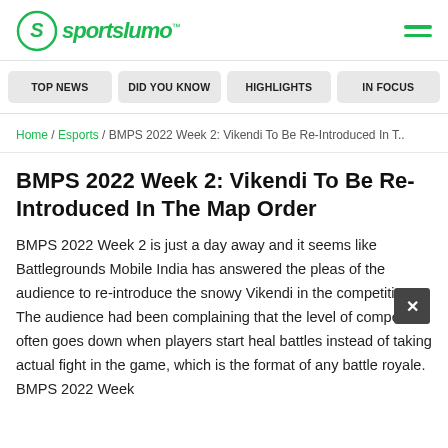sportslumo
TOP NEWS
DID YOU KNOW
HIGHLIGHTS
IN FOCUS
Home / Esports / BMPS 2022 Week 2: Vikendi To Be Re-Introduced In T..
BMPS 2022 Week 2: Vikendi To Be Re-Introduced In The Map Order
BMPS 2022 Week 2 is just a day away and it seems like Battlegrounds Mobile India has answered the pleas of the audience to re-introduce the snowy Vikendi in the competition. The audience had been complaining that the level of competition often goes down when players start heal battles instead of taking actual fight in the game, which is the format of any battle royale. BMPS 2022 Week